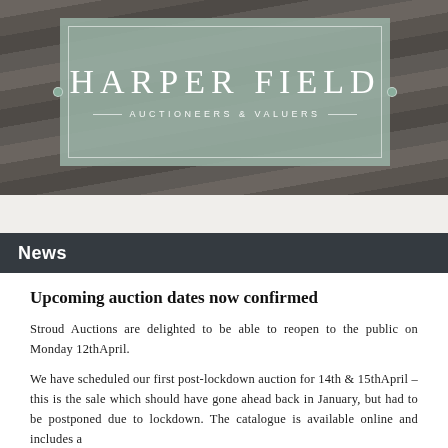[Figure (logo): Harper Field Auctioneers & Valuers logo on sage green background with white serif text and decorative border, set against a dark wooden plank background]
News
Upcoming auction dates now confirmed
Stroud Auctions are delighted to be able to reopen to the public on Monday 12thApril.
We have scheduled our first post-lockdown auction for 14th & 15thApril – this is the sale which should have gone ahead back in January, but had to be postponed due to lockdown. The catalogue is available online and includes a